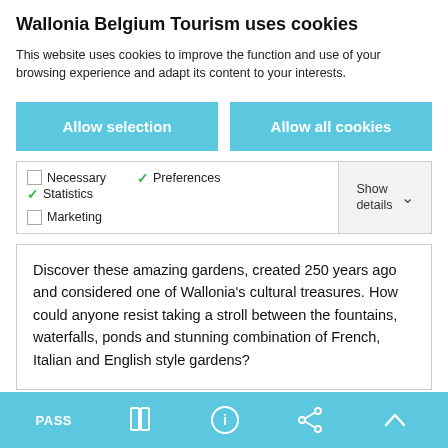Wallonia Belgium Tourism uses cookies
This website uses cookies to improve the function and use of your browsing experience and adapt its content to your interests.
Allow selection
Allow all cookies
Necessary  Preferences  Statistics  Marketing  Show details
Discover these amazing gardens, created 250 years ago and considered one of Wallonia's cultural treasures. How could anyone resist taking a stroll between the fountains, waterfalls, ponds and stunning combination of French, Italian and English style gardens?
PASS